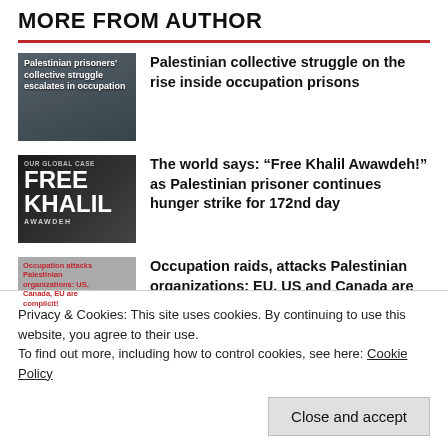MORE FROM AUTHOR
[Figure (photo): Thumbnail image of Palestinian prisoners with text overlay about collective struggle escalating in occupation]
Palestinian collective struggle on the rise inside occupation prisons
[Figure (photo): Free Khalil campaign image with bold text FREE KHALIL]
The world says: “Free Khalil Awawdeh!” as Palestinian prisoner continues hunger strike for 172nd day
[Figure (photo): Image with red text about Occupation attacks Palestinian organizations, EU, US and Canada are complicit]
Occupation raids, attacks Palestinian organizations: EU, US and Canada are complicit!
Privacy & Cookies: This site uses cookies. By continuing to use this website, you agree to their use.
To find out more, including how to control cookies, see here: Cookie Policy